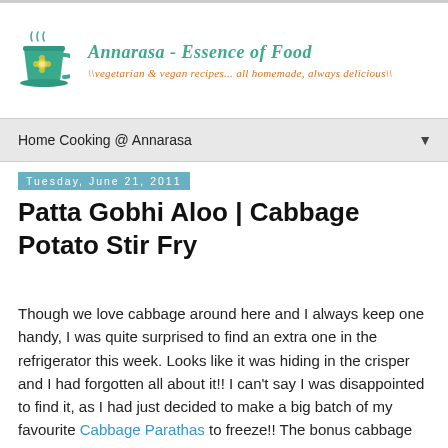Annarasa - Essence of Food | \vegetarian & vegan recipes... all homemade, always delicious\
Home Cooking @ Annarasa
Tuesday, June 21, 2011
Patta Gobhi Aloo | Cabbage Potato Stir Fry
Though we love cabbage around here and I always keep one handy, I was quite surprised to find an extra one in the refrigerator this week. Looks like it was hiding in the crisper and I had forgotten all about it!! I can't say I was disappointed to find it, as I had just decided to make a big batch of my favourite Cabbage Parathas to freeze!! The bonus cabbage went towards a childhood favourite - one that